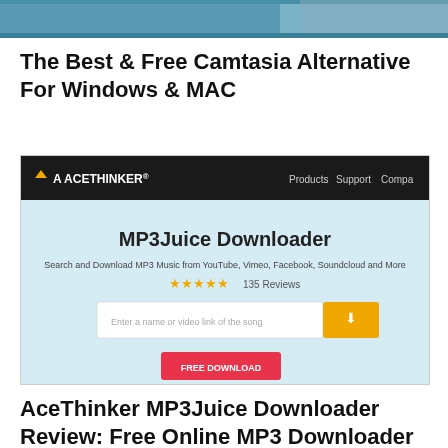[Figure (screenshot): Partial screenshot of a video thumbnail at the top of the page, showing blurred/cropped image content]
The Best & Free Camtasia Alternative For Windows & MAC
[Figure (screenshot): Screenshot of AceThinker MP3Juice Downloader website with black navbar showing Products, Support, Company links, a light blue background with the title MP3Juice Downloader, subtitle Search and Download MP3 Music from YouTube, Vimeo, Facebook, Soundcloud and More, 5 orange stars with 135 Reviews, a white input field saying Enter a name or video link of the song with an orange download button, and a red FREE DOWNLOAD button]
AceThinker MP3Juice Downloader Review: Free Online MP3 Downloader